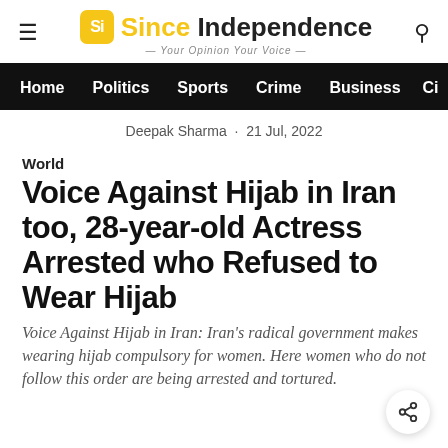Since Independence – Your Opinion Your Voice
Deepak Sharma · 21 Jul, 2022
World
Voice Against Hijab in Iran too, 28-year-old Actress Arrested who Refused to Wear Hijab
Voice Against Hijab in Iran: Iran's radical government makes wearing hijab compulsory for women. Here women who do not follow this order are being arrested and tortured.